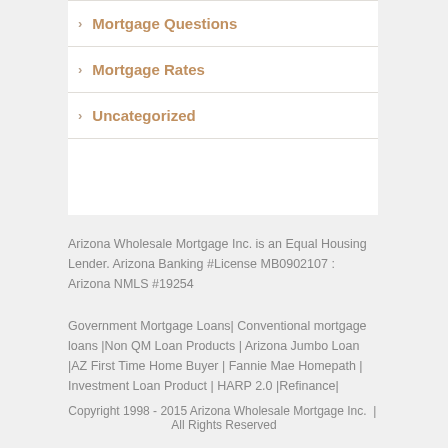Mortgage Questions
Mortgage Rates
Uncategorized
Arizona Wholesale Mortgage Inc. is an Equal Housing Lender. Arizona Banking #License MB0902107 : Arizona NMLS #19254
Government Mortgage Loans| Conventional mortgage loans |Non QM Loan Products | Arizona Jumbo Loan |AZ First Time Home Buyer | Fannie Mae Homepath | Investment Loan Product | HARP 2.0 |Refinance|
Copyright 1998 - 2015 Arizona Wholesale Mortgage Inc. | All Rights Reserved